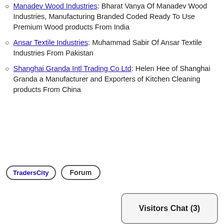Manadev Wood Industries: Bharat Vanya Of Manadev Wood Industries, Manufacturing Branded Coded Ready To Use Premium Wood products From India
Ansar Textile Industries: Muhammad Sabir Of Ansar Textile Industries From Pakistan
Shanghai Granda Intl Trading Co Ltd: Helen Hee of Shanghai Granda a Manufacturer and Exporters of Kitchen Cleaning products From China
[Figure (logo): TradersCity logo button with rounded border]
[Figure (other): Forum button with rounded border]
[Figure (other): Visitors Chat (3) button with rounded border]